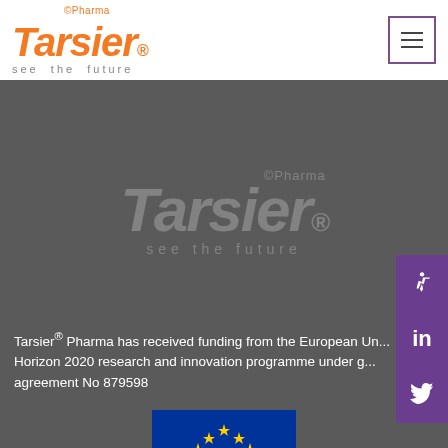[Figure (logo): Tarsier Pharma logo with orange text and tagline 'see the future', with a hamburger menu button on the right]
[Figure (logo): Watermark Tarsier Pharma logo in grey on dark background]
Tarsier® Pharma has received funding from the European Union's Horizon 2020 research and innovation programme under grant agreement No 879598
[Figure (photo): European Union flag — blue background with 12 yellow stars arranged in a circle]
Privacy Policy
© Tarsier® Pharma Ltd 2022